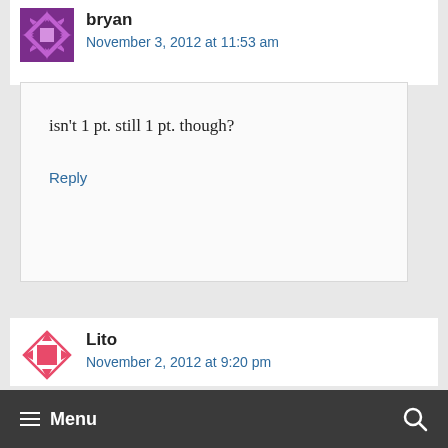bryan
November 3, 2012 at 11:53 am
isn't 1 pt. still 1 pt. though?
Reply
Lito
November 2, 2012 at 9:20 pm
≡ Menu